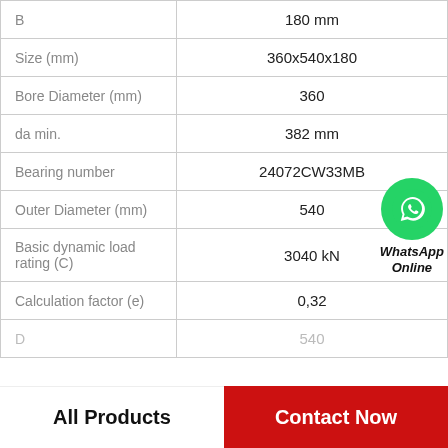| Property | Value |
| --- | --- |
| B | 180 mm |
| Size (mm) | 360x540x180 |
| Bore Diameter (mm) | 360 |
| da min. | 382 mm |
| Bearing number | 24072CW33MB |
| Outer Diameter (mm) | 540 |
| Basic dynamic load rating (C) | 3040 kN |
| Calculation factor (e) | 0,32 |
| D | 540 |
All Products    Contact Now